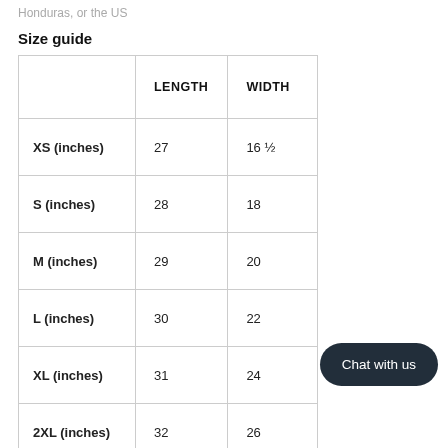Honduras, or the US
Size guide
|  | LENGTH | WIDTH |
| --- | --- | --- |
| XS (inches) | 27 | 16 ½ |
| S (inches) | 28 | 18 |
| M (inches) | 29 | 20 |
| L (inches) | 30 | 22 |
| XL (inches) | 31 | 24 |
| 2XL (inches) | 32 | 26 |
Chat with us